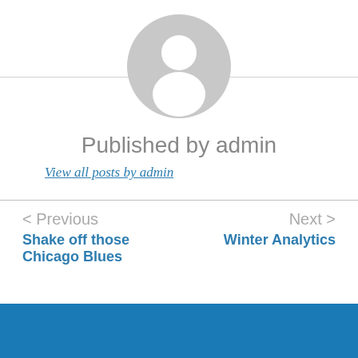[Figure (illustration): Default avatar/profile image placeholder — a grey circle with a white silhouette of a person (head and shoulders)]
Published by admin
View all posts by admin
< Previous
Shake off those Chicago Blues
Next >
Winter Analytics